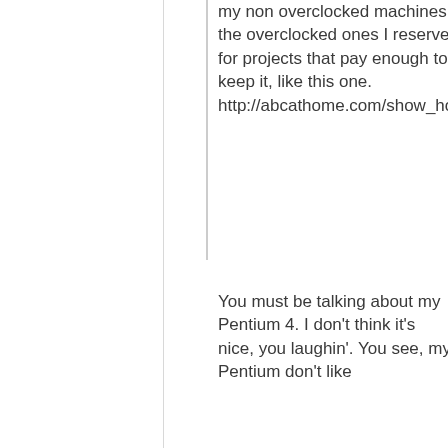my non overclocked machines, the overclocked ones I reserve for projects that pay enough to keep it, like this one. http://abcathome.com/show_hostid=37811
You must be talking about my Pentium 4. I don't think it's nice, you laughin'. You see, my Pentium don't like